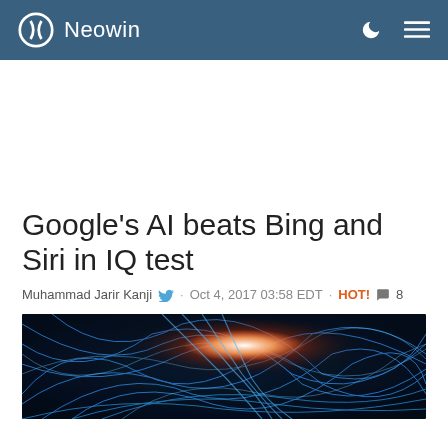Neowin
Google's AI beats Bing and Siri in IQ test
Muhammad Jarir Kanji · Oct 4, 2017 03:58 EDT · HOT! 🗨 8
[Figure (photo): Abstract neural network visualization with glowing blue filaments and orange light burst on dark background]